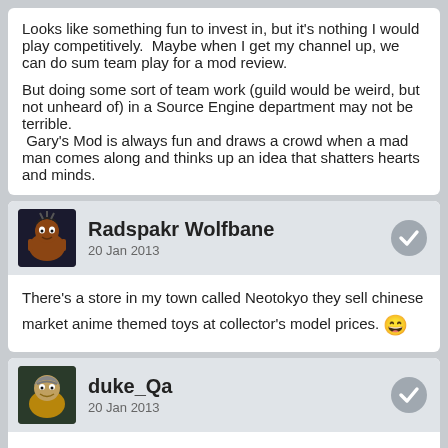Looks like something fun to invest in, but it's nothing I would play competitively.  Maybe when I get my channel up, we can do sum team play for a mod review.

But doing some sort of team work (guild would be weird, but not unheard of) in a Source Engine department may not be terrible.
 Gary's Mod is always fun and draws a crowd when a mad man comes along and thinks up an idea that shatters hearts and minds.
Radspakr Wolfbane
20 Jan 2013
There's a store in my town called Neotokyo they sell chinese market anime themed toys at collector's model prices. 😄
duke_Qa
20 Jan 2013
neo-tokyo got famous from the Akira movie, which starts by nuking old-tokyo.

Anyway, looks like a sort of Ghost in the Shell inspired FPS. Not a bad idea, but personally I'd add some sort of close-combat system and use